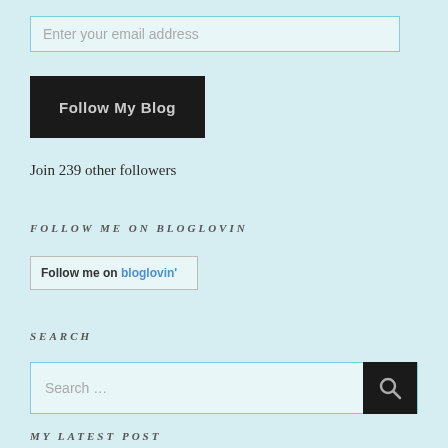Enter your email address
Follow My Blog
Join 239 other followers
FOLLOW ME ON BLOGLOVIN
Follow me on bloglovin'
SEARCH
Search ...
MY LATEST POST